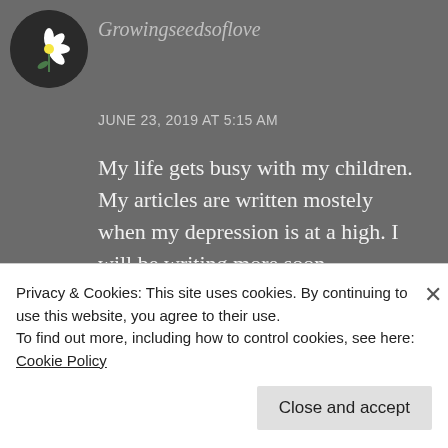[Figure (photo): Circular avatar image of flowers (white flowers on dark background)]
Growingseedsoflove
JUNE 23, 2019 AT 5:15 AM
My life gets busy with my children. My articles are written mostely when my depression is at a high. I will be writing more soon
★ Like
REPLY
Privacy & Cookies: This site uses cookies. By continuing to use this website, you agree to their use.
To find out more, including how to control cookies, see here: Cookie Policy
Close and accept